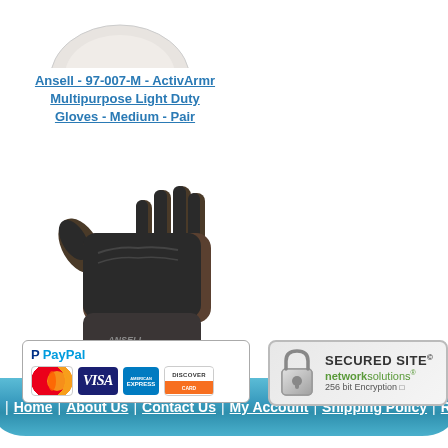[Figure (photo): Partial product image at top - white glove/protective equipment, cropped]
Ansell - 97-007-M - ActivArmr Multipurpose Light Duty Gloves - Medium - Pair
[Figure (photo): Ansell ActivArmr multipurpose light duty gloves in brown/grey, shown as a single right-hand glove on white background]
[Figure (infographic): Navigation bar with teal/blue gradient background showing links: Home | About Us | Contact Us | My Account | Shipping Policy | Return P...]
[Figure (logo): PayPal accepted payment methods badge showing PayPal logo with MasterCard, VISA, American Express, and Discover cards]
[Figure (logo): Network Solutions Secured Site badge with padlock icon and 256 bit Encryption text]